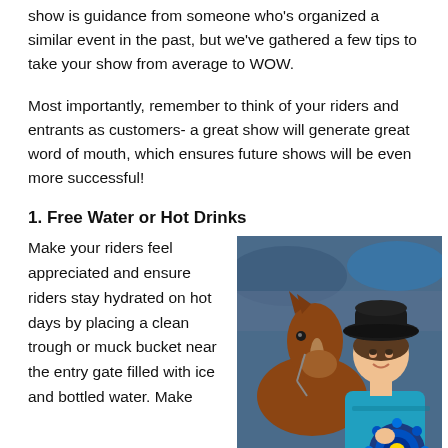show is guidance from someone who's organized a similar event in the past, but we've gathered a few tips to take your show from average to WOW.
Most importantly, remember to think of your riders and entrants as customers- a great show will generate great word of mouth, which ensures future shows will be even more successful!
1. Free Water or Hot Drinks
Make your riders feel appreciated and ensure riders stay hydrated on hot days by placing a clean trough or muck bucket near the entry gate filled with ice and bottled water. Make
[Figure (photo): Young girl wearing a black cowboy hat and teal shirt, smiling and holding a large blue rosette ribbon/prize, standing next to a brown horse at what appears to be an equestrian show.]